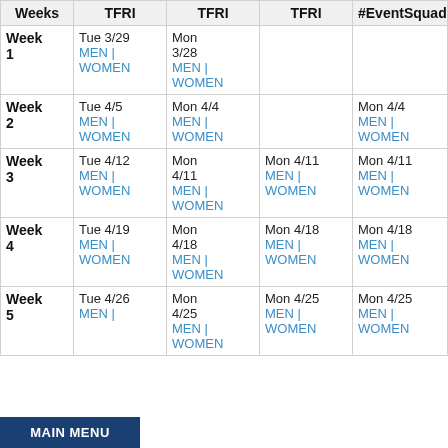| Weeks | TFRI | TFRI | TFRI | #EventSquad | DA |
| --- | --- | --- | --- | --- | --- |
| Week 1 | Tue 3/29
MEN | WOMEN | Mon 3/28
MEN | WOMEN |  |  |  |
| Week 2 | Tue 4/5
MEN | WOMEN | Mon 4/4
MEN | WOMEN |  | Mon 4/4
MEN | WOMEN |  |
| Week 3 | Tue 4/12
MEN | WOMEN | Mon 4/11
MEN | WOMEN | Mon 4/11
MEN | WOMEN | Mon 4/11
MEN | WOMEN |  |
| Week 4 | Tue 4/19
MEN | WOMEN | Mon 4/18
MEN | WOMEN | Mon 4/18
MEN | WOMEN | Mon 4/18
MEN | WOMEN |  |
| Week 5 | Tue 4/26
MEN | ... | Mon 4/25
MEN | WOMEN | Mon 4/25
MEN | WOMEN | Mon 4/25
MEN | WOMEN |  |